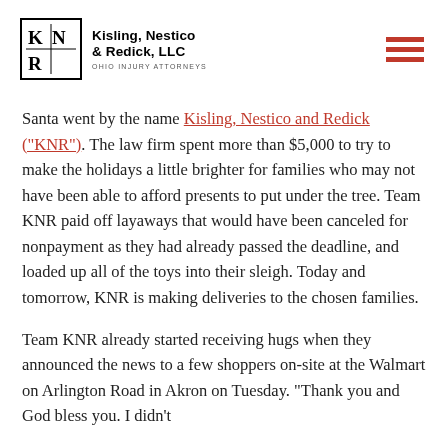Kisling, Nestico & Redick, LLC — Ohio Injury Attorneys
Santa went by the name Kisling, Nestico and Redick ("KNR"). The law firm spent more than $5,000 to try to make the holidays a little brighter for families who may not have been able to afford presents to put under the tree. Team KNR paid off layaways that would have been canceled for nonpayment as they had already passed the deadline, and loaded up all of the toys into their sleigh. Today and tomorrow, KNR is making deliveries to the chosen families.
Team KNR already started receiving hugs when they announced the news to a few shoppers on-site at the Walmart on Arlington Road in Akron on Tuesday. "Thank you and God bless you. I didn't